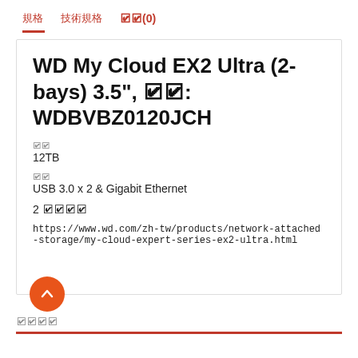規格  技術規格  評論(0)
WD My Cloud EX2 Ultra (2-bays) 3.5", 型號: WDBVBZ0120JCH
容量
12TB
連接
USB 3.0 x 2 & Gigabit Ethernet
2 硬碟托架
https://www.wd.com/zh-tw/products/network-attached-storage/my-cloud-expert-series-ex2-ultra.html
相關產品